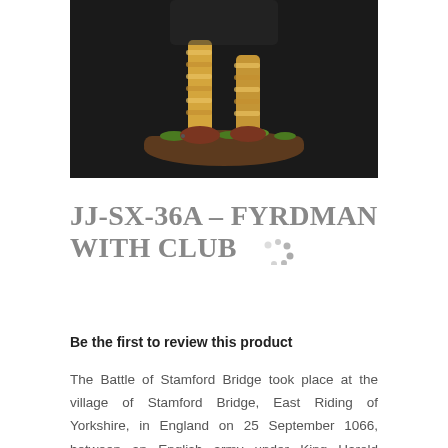[Figure (photo): Close-up photograph of a painted miniature figurine (fyrdman) on a dark background, showing legs and base with green flock, the base is brown/earth colored rectangular shape with grass texture.]
JJ-SX-36A – FYRDMAN WITH CLUB
Be the first to review this product
The Battle of Stamford Bridge took place at the village of Stamford Bridge, East Riding of Yorkshire, in England on 25 September 1066, between an English army under King Harold Godwinson and an invading Norwegian force led by King Harald Hardrada and the English king's brother Tostig